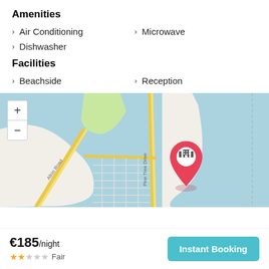Amenities
Air Conditioning
Microwave
Dishwasher
Facilities
Beachside
Reception
[Figure (map): Street map showing a coastal area with roads including Alton Road and Pine Tree Drive, with a pink location pin marker indicating a hotel/building.]
€185/night
★★☆☆☆ Fair
Instant Booking